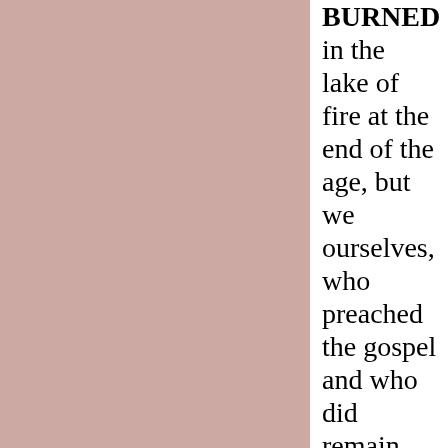[Figure (other): Large pink/mauve rectangular block occupying the left two-thirds of the page]
BURNED in the lake of fire at the end of the age, but we ourselves, who preached the gospel and who did remain faithful through all the trials that served